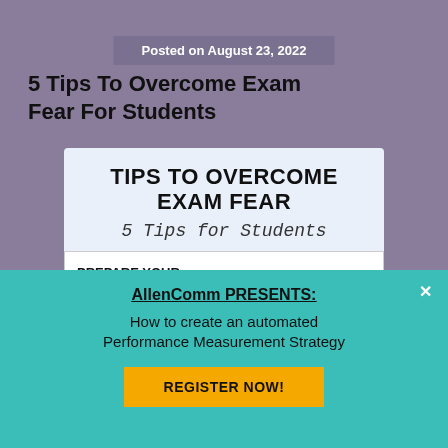Posted on August 23, 2022
5 Tips To Overcome Exam Fear For Students
[Figure (infographic): Infographic titled 'Tips To Overcome Exam Fear - 5 Tips for Students' showing a section about 'Prepare Your Timetable' with a clock icon and text: 'Being a student and parent of a student, you should not follow others and look at others' for']
AllenComm PRESENTS:
How to create an automated Performance Measurement Strategy
REGISTER NOW!